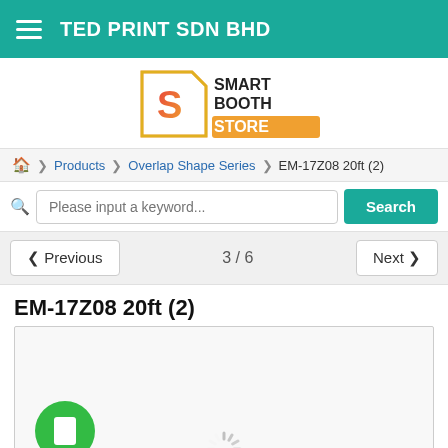TED PRINT SDN BHD
[Figure (logo): Smart Booth Store logo with stylized S icon and colorful text]
Products > Overlap Shape Series > EM-17Z08 20ft (2)
Please input a keyword... [Search]
< Previous   3 / 6   Next >
EM-17Z08 20ft (2)
[Figure (photo): Product image area showing a loading spinner and a green play button circle on a light gray background]